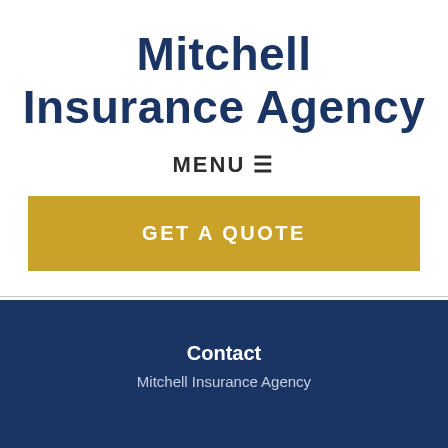Mitchell Insurance Agency
MENU ≡
GET A QUOTE
See All Reviews
Contact
Mitchell Insurance Agency